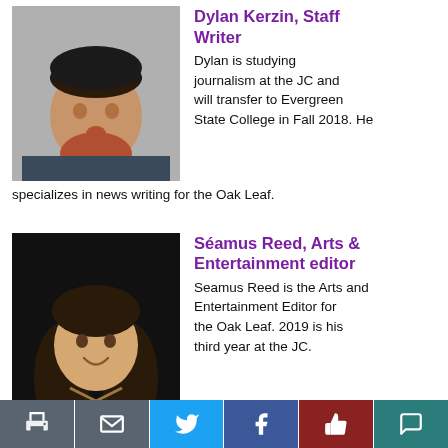[Figure (photo): Headshot of Dylan Kerzin, a young man with a red beard wearing a cap and dark shirt, against a light gray background]
Dylan Kerzin, Staff Writer
Dylan is studying journalism at the JC and will transfer to Evergreen State College in Fall 2018. He specializes in news writing for the Oak Leaf.
[Figure (photo): Headshot of Séamus Reed, a young man with long dark hair and a smile, wearing a tan shirt, against a dark background]
Séamus Reed, Arts & Entertainment editor
Seamus Reed is the Arts and Entertainment Editor for the Oak Leaf. 2019 is his third year at the JC.